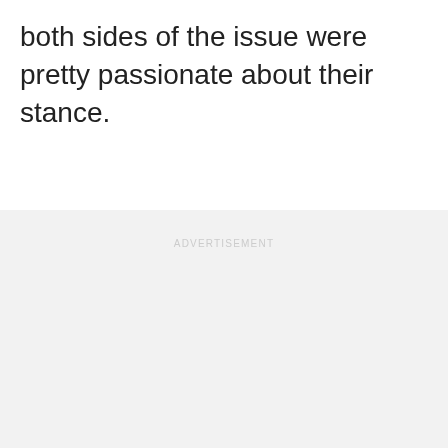both sides of the issue were pretty passionate about their stance.
[Figure (other): Advertisement placeholder area with light gray background and 'ADVERTISEMENT' label text]